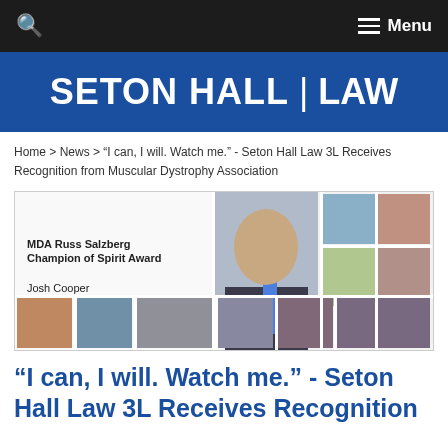🔍  ≡ Menu
[Figure (logo): Seton Hall | LAW logo in white text on blue background]
Home > News > "I can, I will. Watch me." - Seton Hall Law 3L Receives Recognition from Muscular Dystrophy Association
[Figure (photo): MDA Russ Salzberg Champion of Spirit Award photo collage featuring Josh Cooper with multiple photos]
"I can, I will. Watch me." - Seton Hall Law 3L Receives Recognition